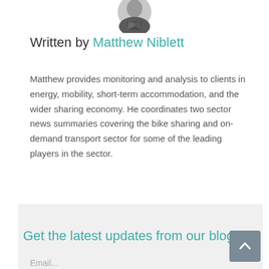[Figure (photo): Circular headshot of Matthew Niblett, a man in a grey jacket, black and white photo]
Written by Matthew Niblett
Matthew provides monitoring and analysis to clients in energy, mobility, short-term accommodation, and the wider sharing economy. He coordinates two sector news summaries covering the bike sharing and on-demand transport sector for some of the leading players in the sector.
Get the latest updates from our blog